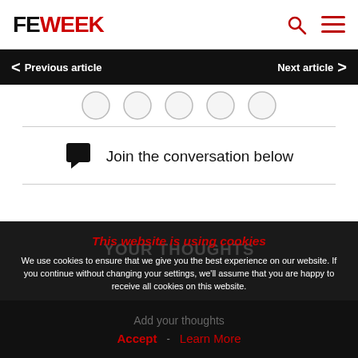FE WEEK
Previous article  Next article
[Figure (illustration): Row of five social media sharing circular icon buttons, partially visible at top]
Join the conversation below
This website is using cookies
We use cookies to ensure that we give you the best experience on our website. If you continue without changing your settings, we'll assume that you are happy to receive all cookies on this website.
Add your thoughts
Accept  Learn More